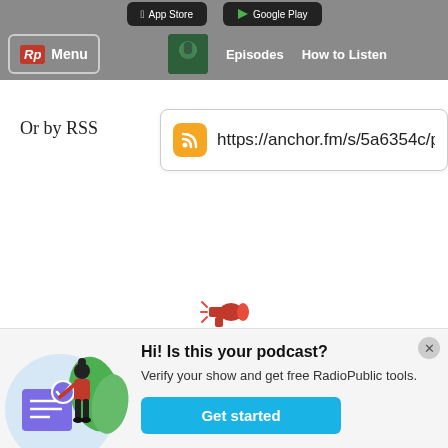App Store   Google Play
Rp Menu   Episodes   How to Listen
Or by RSS
https://anchor.fm/s/5a6354c/pc
[Figure (illustration): Megaphone icon in red]
[Figure (illustration): Woman standing next to a large document with a checkmark, surrounded by green leaves, on a light blue circle background]
Hi! Is this your podcast?
Verify your show and get free RadioPublic tools.
Get started